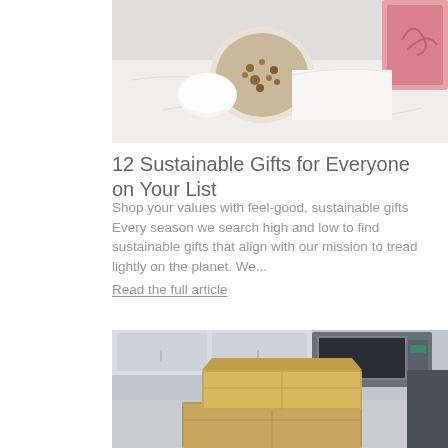[Figure (photo): Overhead view of food items including a bowl of granola/seeds on a white marble surface with wrapping paper and ribbon]
12 Sustainable Gifts for Everyone on Your List
Shop your values with feel-good, sustainable gifts Every season we search high and low to find sustainable gifts that align with our mission to tread lightly on the planet. We... Read the full article
[Figure (photo): Stacked cardboard/kraft paper boxes on a kitchen counter with a microwave and kitchen cabinets in the background]